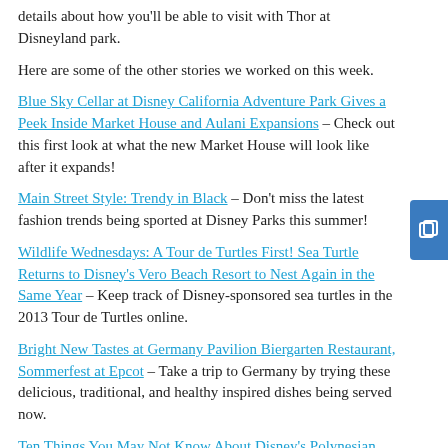details about how you'll be able to visit with Thor at Disneyland park.
Here are some of the other stories we worked on this week.
Blue Sky Cellar at Disney California Adventure Park Gives a Peek Inside Market House and Aulani Expansions – Check out this first look at what the new Market House will look like after it expands!
Main Street Style: Trendy in Black – Don't miss the latest fashion trends being sported at Disney Parks this summer!
Wildlife Wednesdays: A Tour de Turtles First! Sea Turtle Returns to Disney's Vero Beach Resort to Nest Again in the Same Year – Keep track of Disney-sponsored sea turtles in the 2013 Tour de Turtles online.
Bright New Tastes at Germany Pavilion Biergarten Restaurant, Sommerfest at Epcot – Take a trip to Germany by trying these delicious, traditional, and healthy inspired dishes being served now.
Ten Things You May Not Know About Disney's Polynesian Resort at Walt Disney World Resort – Watch to learn new